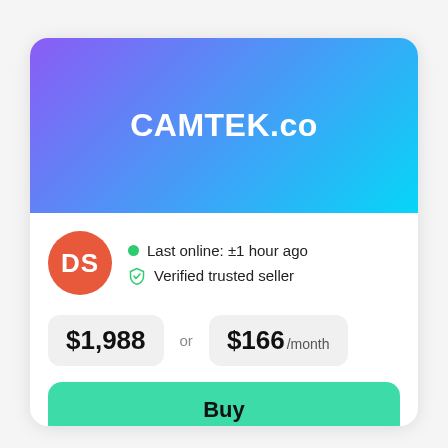CAMTEK.co
Last online: ±1 hour ago
Verified trusted seller
$1,988 or $166 /month
Buy